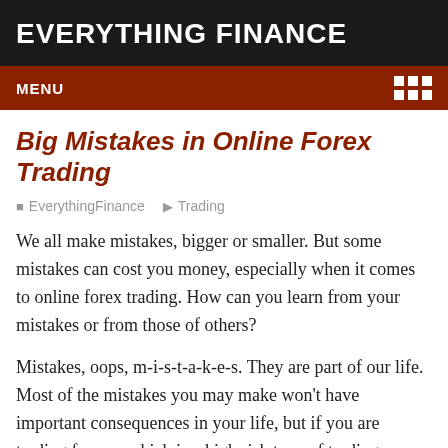EVERYTHING FINANCE
MENU
Big Mistakes in Online Forex Trading
EverythingFinance   Trading
We all make mistakes, bigger or smaller. But some mistakes can cost you money, especially when it comes to online forex trading. How can you learn from your mistakes or from those of others?
Mistakes, oops, m-i-s-t-a-k-e-s. They are part of our life. Most of the mistakes you may make won't have important consequences in your life, but if you are trading forex—which is a high risk type of trading—mistakes can have a huge impact on your money and that can affect all aspects of your life, including the people around you. So it